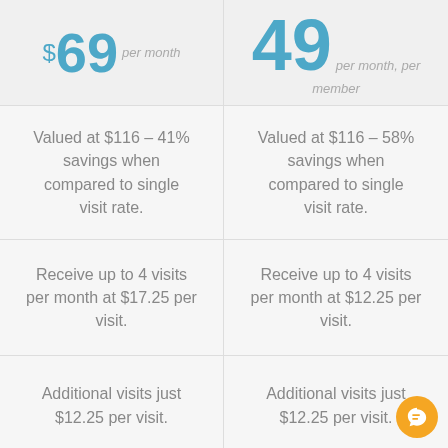$69 per month
$49 per month, per member
Valued at $116 – 41% savings when compared to single visit rate.
Valued at $116 – 58% savings when compared to single visit rate.
Receive up to 4 visits per month at $17.25 per visit.
Receive up to 4 visits per month at $12.25 per visit.
Additional visits just $12.25 per visit.
Additional visits just $12.25 per visit.
Plans automatically
Plans automatically